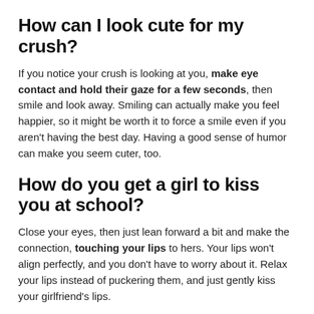How can I look cute for my crush?
If you notice your crush is looking at you, make eye contact and hold their gaze for a few seconds, then smile and look away. Smiling can actually make you feel happier, so it might be worth it to force a smile even if you aren't having the best day. Having a good sense of humor can make you seem cuter, too.
How do you get a girl to kiss you at school?
Close your eyes, then just lean forward a bit and make the connection, touching your lips to hers. Your lips won't align perfectly, and you don't have to worry about it. Relax your lips instead of puckering them, and just gently kiss your girlfriend's lips.